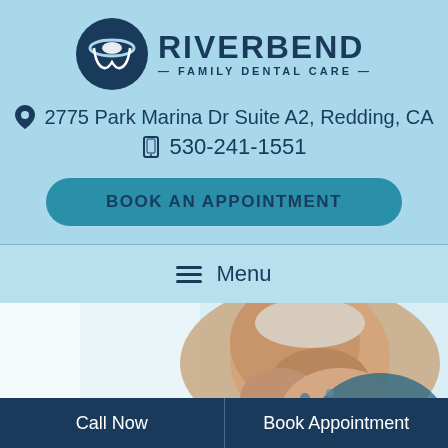[Figure (logo): Riverbend Family Dental Care logo with tooth icon]
2775 Park Marina Dr Suite A2, Redding, CA
530-241-1551
BOOK AN APPOINTMENT
☰ Menu
[Figure (photo): Smiling elderly man at dental office]
Call Now
Book Appointment